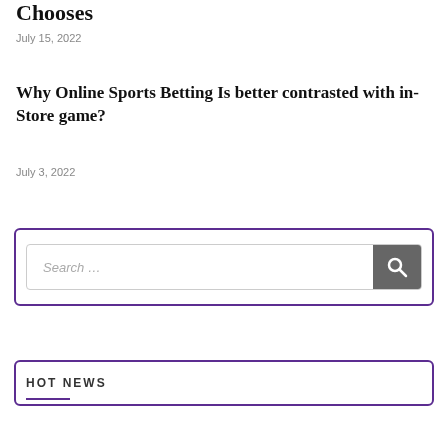Chooses
July 15, 2022
Why Online Sports Betting Is better contrasted with in-Store game?
July 3, 2022
[Figure (other): Search widget box with a text input field showing placeholder 'Search ...' and a search button icon]
HOT NEWS